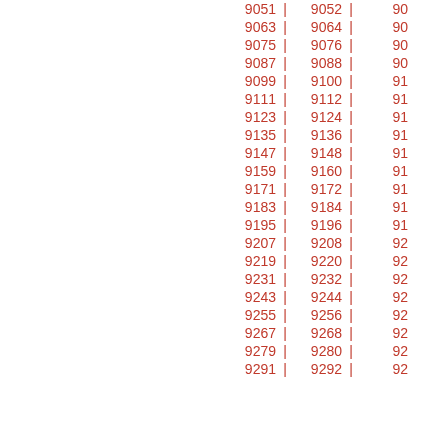9051 | 9052 | 90...
9063 | 9064 | 90...
9075 | 9076 | 90...
9087 | 9088 | 90...
9099 | 9100 | 91...
9111 | 9112 | 91...
9123 | 9124 | 91...
9135 | 9136 | 91...
9147 | 9148 | 91...
9159 | 9160 | 91...
9171 | 9172 | 91...
9183 | 9184 | 91...
9195 | 9196 | 91...
9207 | 9208 | 92...
9219 | 9220 | 92...
9231 | 9232 | 92...
9243 | 9244 | 92...
9255 | 9256 | 92...
9267 | 9268 | 92...
9279 | 9280 | 92...
9291 | 9292 | 92...